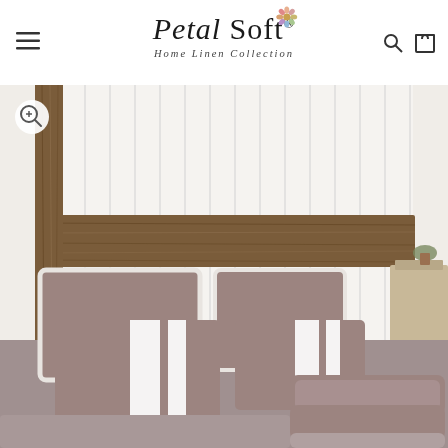Petal Soft — Home Linen Collection
[Figure (photo): Product photo of a mauve/taupe bedding set with white stripe accents — pillows of various sizes and a folded duvet/comforter, displayed on a bed with a rustic wooden headboard and white paneled wall background. A zoom/magnify button is visible in the top-left of the image.]